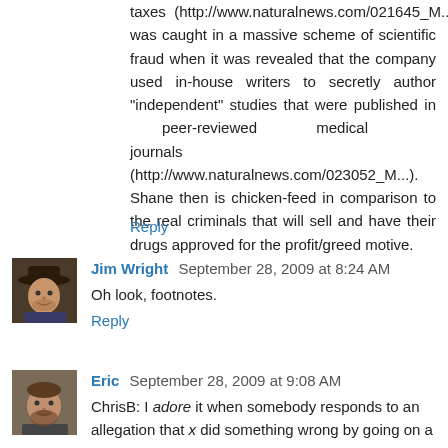taxes (http://www.naturalnews.com/021645_M...), and it was caught in a massive scheme of scientific fraud when it was revealed that the company used in-house writers to secretly author "independent" studies that were published in peer-reviewed medical journals (http://www.naturalnews.com/023052_M...). Shane then is chicken-feed in comparison to the real criminals that will sell and have their drugs approved for the profit/greed motive.
Reply
[Figure (photo): Avatar photo of Jim Wright, a man wearing a cowboy hat]
Jim Wright  September 28, 2009 at 8:24 AM
Oh look, footnotes.
Reply
[Figure (photo): Avatar photo of Eric, a man with a beard]
Eric  September 28, 2009 at 9:08 AM
ChrisB: I adore it when somebody responds to an allegation that x did something wrong by going on a rant about how x didn't do anything...